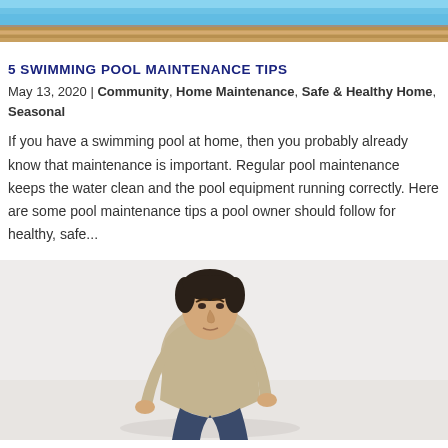[Figure (photo): Top cropped photo showing a swimming pool edge with blue water and wooden deck/flooring]
5 SWIMMING POOL MAINTENANCE TIPS
May 13, 2020 | Community, Home Maintenance, Safe & Healthy Home, Seasonal
If you have a swimming pool at home, then you probably already know that maintenance is important. Regular pool maintenance keeps the water clean and the pool equipment running correctly. Here are some pool maintenance tips a pool owner should follow for healthy, safe...
[Figure (photo): Photo of a man in a beige/khaki shirt crouching or leaning forward, seemingly inspecting or working near a pool edge]